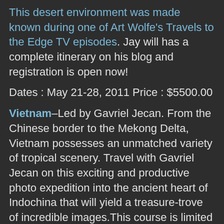This desert environment was made known during one of Art Wolfe's Travels to the Edge TV episodes. Jay will has a complete itinerary on his blog and registration is open now!
Dates : May 21-28, 2011 Price : $5500.00
Vietnam–Led by Gavriel Jecan. From the Chinese border to the Mekong Delta, Vietnam possesses an unmatched variety of tropical scenery. Travel with Gavriel Jecan on this exciting and productive photo expedition into the ancient heart of Indochina that will yield a treasure-trove of incredible images.This course is limited to ten participants!
Dates : June 3 – 13, 2011 Price : $3930.00
Monterey, California–Big Sur and the Monterey Coast are one of the most unique photographic environments along the Pacific boundary of the United States.